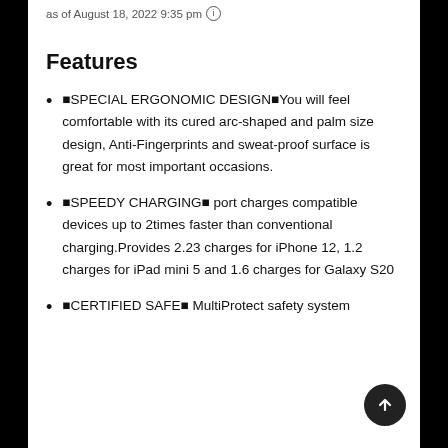as of August 18, 2022 9:35 pm ℹ
Features
⊞SPECIAL ERGONOMIC DESIGN⊟You will feel comfortable with its cured arc-shaped and palm size design, Anti-Fingerprints and sweat-proof surface is great for most important occasions.
⊞SPEEDY CHARGING⊠ port charges compatible devices up to 2times faster than conventional charging.Provides 2.23 charges for iPhone 12, 1.2 charges for iPad mini 5 and 1.6 charges for Galaxy S20
⊞CERTIFIED SAFE⊠ MultiProtect safety system